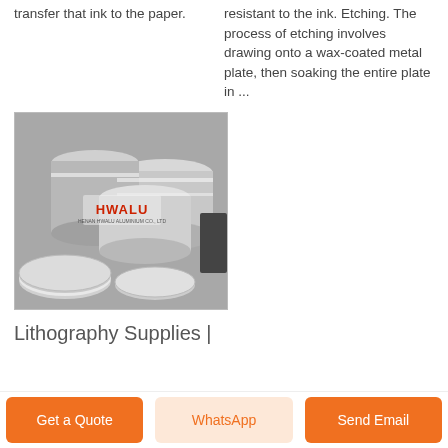transfer that ink to the paper.
resistant to the ink. Etching. The process of etching involves drawing onto a wax-coated metal plate, then soaking the entire plate in ...
[Figure (photo): Stacked aluminum circle discs/coils with HWALU brand label visible in the center.]
Lithography Supplies |
Get a Quote | WhatsApp | Send Email